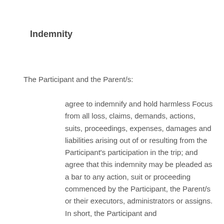Indemnity
The Participant and the Parent/s:
agree to indemnify and hold harmless Focus from all loss, claims, demands, actions, suits, proceedings, expenses, damages and liabilities arising out of or resulting from the Participant's participation in the trip; and agree that this indemnity may be pleaded as a bar to any action, suit or proceeding commenced by the Participant, the Parent/s or their executors, administrators or assigns. In short, the Participant and